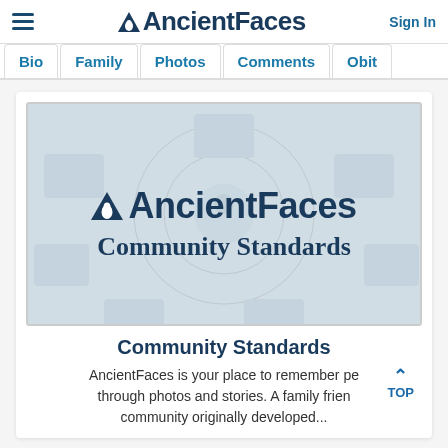AncientFaces  Sign In
Bio  Family  Photos  Comments  Obit
[Figure (logo): AncientFaces Community Standards banner with logo and family photo collage background]
Community Standards
AncientFaces is your place to remember pe through photos and stories. A family frien community originally developed...